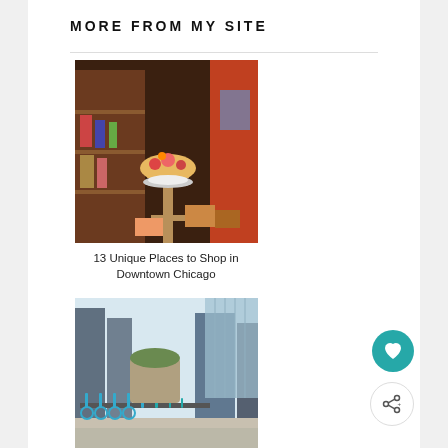MORE FROM MY SITE
[Figure (photo): Interior of a shop with shelves of goods and decorative floral arrangement on a pedestal table]
13 Unique Places to Shop in Downtown Chicago
[Figure (photo): Row of blue Divvy bicycles parked in docking stations on an urban sidewalk with tall buildings in the background]
New Divvy rewards program
[Figure (photo): Skyline view with tall skyscrapers and green trees in a park setting]
Volunteer to help plant and
[Figure (photo): Exterior of North Shore Exchange thrift store with purple ribbon stanchions at the entrance]
Thrift shopping 900 N